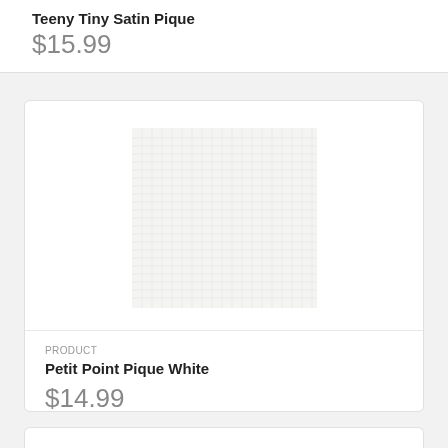Teeny Tiny Satin Pique
$15.99
[Figure (photo): Fabric swatch image showing Petit Point Pique White textile with a fine grid-like woven texture in off-white/light grey color]
PRODUCT
Petit Point Pique White
$14.99